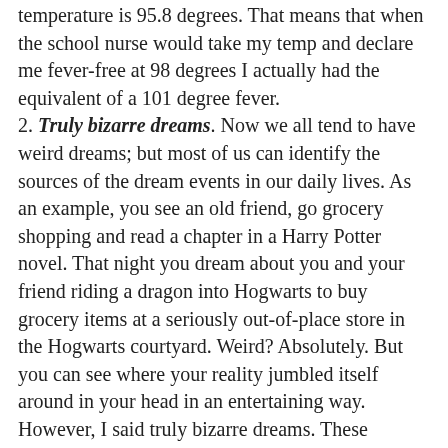temperature is 95.8 degrees. That means that when the school nurse would take my temp and declare me fever-free at 98 degrees I actually had the equivalent of a 101 degree fever.
2. Truly bizarre dreams. Now we all tend to have weird dreams; but most of us can identify the sources of the dream events in our daily lives. As an example, you see an old friend, go grocery shopping and read a chapter in a Harry Potter novel. That night you dream about you and your friend riding a dragon into Hogwarts to buy grocery items at a seriously out-of-place store in the Hogwarts courtyard. Weird? Absolutely. But you can see where your reality jumbled itself around in your head in an entertaining way. However, I said truly bizarre dreams. These dreams seem to have no connection to the adult's or child's actual life. You dream about people, places, objects, ideas, etc that